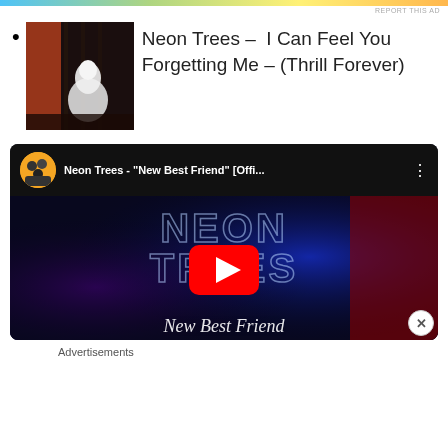[Figure (other): Colorful advertisement banner bar at top of page]
REPORT THIS AD
Neon Trees – I Can Feel You Forgetting Me – (Thrill Forever)
[Figure (other): YouTube video thumbnail for Neon Trees - New Best Friend [Offi... with play button]
Advertisements